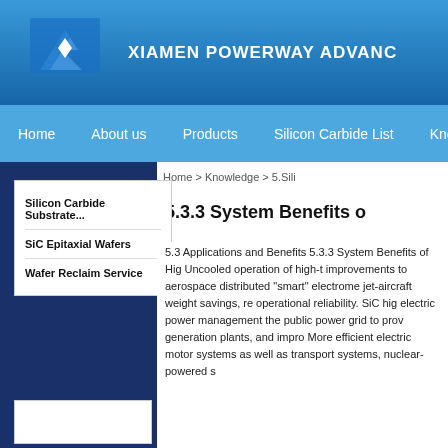XIAMEN POWERWAY ADVANCE
Home | About us | Products | Silicon Carbide List | Knowledge
Home > Knowledge > 5.Sili
5.3.3 System Benefits o
Silicon Carbide Substrate...
SiC Epitaxial Wafers
Wafer Reclaim Service
5.3 Applications and Benefits 5.3.3 System Benefits of Hig Uncooled operation of high-t improvements to aerospace distributed "smart" electrome jet-aircraft weight savings, re operational reliability. SiC hig electric power management the public power grid to prov generation plants, and impro More efficient electric motor systems as well as transport systems, nuclear-powered s